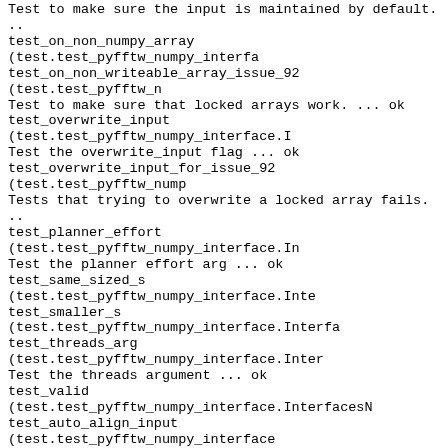Test to make sure the input is maintained by default. ..
test_on_non_numpy_array (test.test_pyfftw_numpy_interfa
test_on_non_writeable_array_issue_92 (test.test_pyfftw_n
Test to make sure that locked arrays work. ... ok
test_overwrite_input (test.test_pyfftw_numpy_interface.I
Test the overwrite_input flag ... ok
test_overwrite_input_for_issue_92 (test.test_pyfftw_nump
Tests that trying to overwrite a locked array fails. ..
test_planner_effort (test.test_pyfftw_numpy_interface.In
Test the planner effort arg ... ok
test_same_sized_s (test.test_pyfftw_numpy_interface.Inte
test_smaller_s (test.test_pyfftw_numpy_interface.Interfa
test_threads_arg (test.test_pyfftw_numpy_interface.Inter
Test the threads argument ... ok
test_valid (test.test_pyfftw_numpy_interface.InterfacesN
test_auto_align_input (test.test_pyfftw_numpy_interface
test_auto_contiguous_input (test.test_pyfftw_numpy_inter
test_bigger_and_smaller_s (test.test_pyfftw_numpy_interr
test_bigger_s (test.test_pyfftw_numpy_interface.Interfac
test_dtype_coercian (test.test_pyfftw_numpy_interface.In
test_fail_on_invalid_s_or_axes_or_norm (test.test_pyfftu
test_input_maintained (test.test_pyfftw_numpy_interface
Test to make sure the input is maintained by default. .
test_on_non_numpy_array (test.test_pyfftw_numpy_interfa
test_on_non_writeable_array_issue_92 (test.test_pyfftw_n
Test to make sure that locked arrays work. ... ok
test_overwrite_input (test.test_pyfftw_numpy_interface.I
Test the overwrite_input flag ... ok
test_overwrite_input_for_issue_92 (test.test_pyfftw_nump
Tests that trying to overwrite a locked array fails. ..